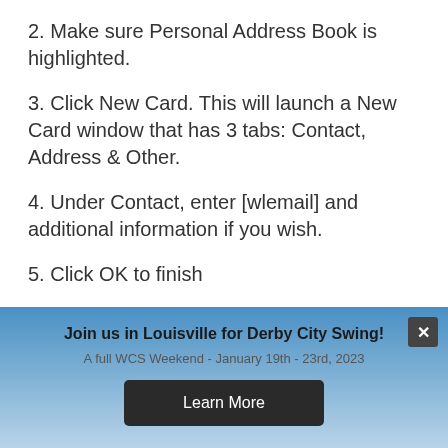2. Make sure Personal Address Book is highlighted.
3. Click New Card. This will launch a New Card window that has 3 tabs: Contact, Address & Other.
4. Under Contact, enter [wlemail] and additional information if you wish.
5. Click OK to finish
APPLE iOS Devices – iPad, iPhone, iPod
Join us in Louisville for Derby City Swing!
A full WCS Weekend - January 19th - 23rd, 2023
Learn More